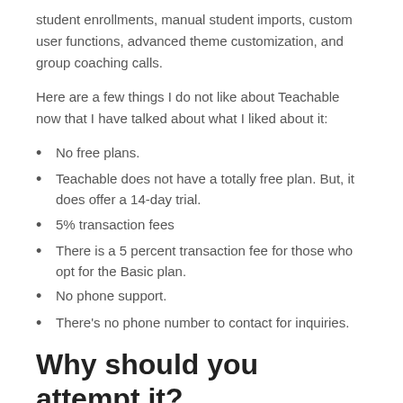student enrollments, manual student imports, custom user functions, advanced theme customization, and group coaching calls.
Here are a few things I do not like about Teachable now that I have talked about what I liked about it:
No free plans.
Teachable does not have a totally free plan. But, it does offer a 14-day trial.
5% transaction fees
There is a 5 percent transaction fee for those who opt for the Basic plan.
No phone support.
There's no phone number to contact for inquiries.
Why should you attempt it?